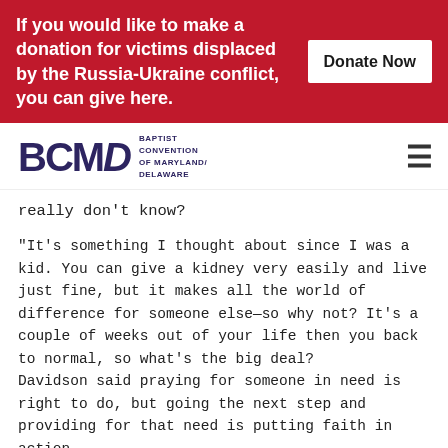If you would like to make a donation for victims displaced by the Russia-Ukraine conflict, you can give here. Donate Now
[Figure (logo): BCMD Baptist Convention of Maryland/Delaware logo]
really don't know?
“It’s something I thought about since I was a kid. You can give a kidney very easily and live just fine, but it makes all the world of difference for someone else—so why not? It’s a couple of weeks out of your life then you back to normal, so what’s the big deal?
Davidson said praying for someone in need is right to do, but going the next step and providing for that need is putting faith in action.
Since the operation, Davidson said her family has drawn closer. Her husband, Robin, was at first leery about the